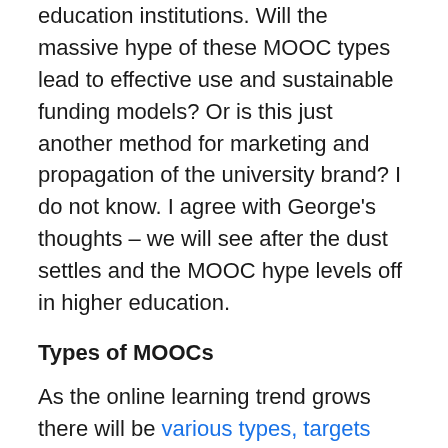education institutions. Will the massive hype of these MOOC types lead to effective use and sustainable funding models? Or is this just another method for marketing and propagation of the university brand? I do not know. I agree with George's thoughts – we will see after the dust settles and the MOOC hype levels off in higher education.
Types of MOOCs
As the online learning trend grows there will be various types, targets and tiered offerings of MOOCs. Some of the MOOCs I have reviewed have included areas for digital competence, open education and technical resources. The content, subjects, platforms and learning environments will vary from MOOC to MOOC – and will most likely depend on the partnering institutions influence as well. Online learning will continue to be part of higher education